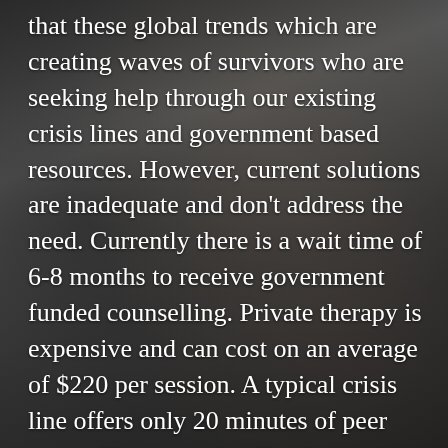that these global trends which are creating waves of survivors who are seeking help through our existing crisis lines and government based resources. However, current solutions are inadequate and don't address the need. Currently there is a wait time of 6-8 months to receive government funded counselling. Private therapy is expensive and can cost on an average of $220 per session. A typical crisis line offers only 20 minutes of peer counselling to each caller due to the sheer volumes of calls they receive. This may leave a placeholder th